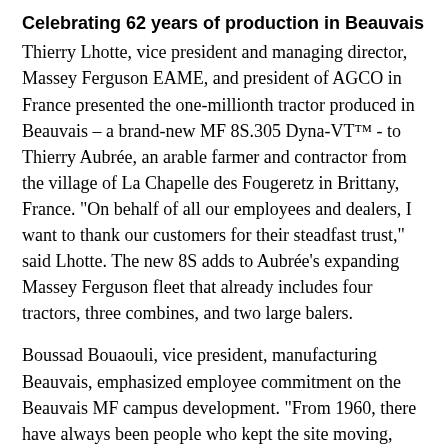Celebrating 62 years of production in Beauvais
Thierry Lhotte, vice president and managing director, Massey Ferguson EAME, and president of AGCO in France presented the one-millionth tractor produced in Beauvais – a brand-new MF 8S.305 Dyna-VT™ - to Thierry Aubrée, an arable farmer and contractor from the village of La Chapelle des Fougeretz in Brittany, France. "On behalf of all our employees and dealers, I want to thank our customers for their steadfast trust," said Lhotte. The new 8S adds to Aubrée's expanding Massey Ferguson fleet that already includes four tractors, three combines, and two large balers.
Boussad Bouaouli, vice president, manufacturing Beauvais, emphasized employee commitment on the Beauvais MF campus development. "From 1960, there have always been people who kept the site moving, always with the right farmer-first focus to address challenges of the times and, above all, with a clear